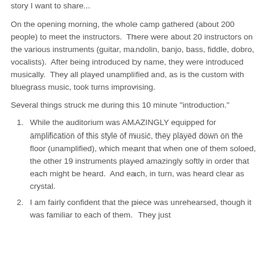story I want to share...
On the opening morning, the whole camp gathered (about 200 people) to meet the instructors.  There were about 20 instructors on the various instruments (guitar, mandolin, banjo, bass, fiddle, dobro, vocalists).  After being introduced by name, they were introduced musically.  They all played unamplified and, as is the custom with bluegrass music, took turns improvising.
Several things struck me during this 10 minute "introduction."
While the auditorium was AMAZINGLY equipped for amplification of this style of music, they played down on the floor (unamplified), which meant that when one of them soloed, the other 19 instruments played amazingly softly in order that each might be heard.  And each, in turn, was heard clear as crystal.
I am fairly confident that the piece was unrehearsed, though it was familiar to each of them.  They just